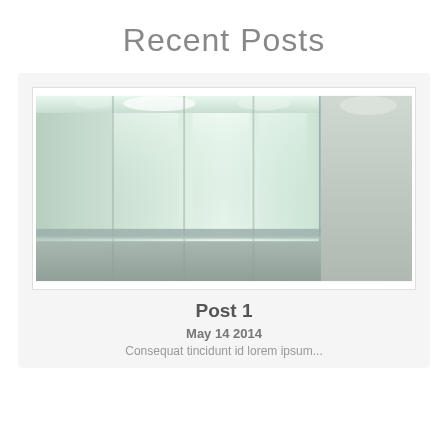Recent Posts
[Figure (photo): Interior photo showing frosted glass panels or doors with overhead lights reflected, creating a luminous green-white glow. The scene appears to be an elevator interior or modern glass partition room.]
Post 1
May 14 2014
Consequat tincidunt id lorem ipsum...